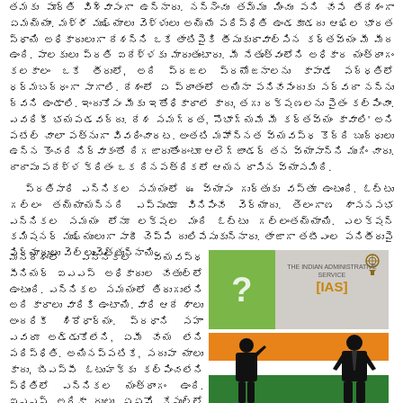తమకు పూర్తి విశ్వాసంగా ఉన్నారు. నన్నెంచు తమ్ము మించు పని చేసే తేదేశంగా ఏమయ్యాం. మళ్ళీ ముఖ్యాలు వెళ్ళులు అయ్యే పరిస్థితి ఉండకూడదు ఆఖిల భారత స్థాయి అధికారులుగా దేశన్ని ఒకే తాటిపైకి తీసుకురావాల్సిన కర్తవ్యం మీ మీద ఉంది. పాలకులు ప్రతి ఐదేళ్ళకు మారుతుంటారు. మీ నేతృత్వంలోని అధికార యంత్రాంగం కలకాలం ఒకే తీరులో, అది ప్రజల ప్రయోజనాలను కాపాడే పద్ధతిలో ధర్మబద్ధంగా సాగాలి. దేశంలో ఏ ప్రాంతంలో అయినా పనిచేసేందుకు సర్వదా నన్ను ద్వని ఉండాలి. ఇందుకోసం మీకు ఇతోధికారాలే కాదు, తగు రక్షణలను పైతం కల్పించాం. ఎవరికీ భయపడవద్దు. దేశ సమగ్రత, సౌభాగ్యమే మీ కర్తవ్యం కావాలి' అని పటేల్ చాలా పత్నుగా వివరించారట. అంతటి మహోన్నత వ్యవస్థ కొద్ది బుద్ధులు ఉన్న కొంచరి నిర్వాకంతో దిగజారుతోందంటూ ఆలెగ్జాండర్ తన వ్యాసాన్ని ముగిం చారు. దాదాపు పదేళ్ళ క్రితం ఒక దినపత్రికలో ఆయన రాసిన వ్యాసమిది.
ప్రతిసారి ఎన్నికల సమయంలో ఈ వ్యాసం గుర్తుకు వస్తూ ఉంటుంది. ఓట్టు గల్లం తయ్యాయన్నది ఎప్పుడూ వినిపించే వెర్యాదు. తెలంగాణ శాసనసభ ఎన్నికల సమయం లోనూ లక్షల మంది ఓట్టు గల్లంతయ్యాయి. ఎలక్షన్ కమిషనర్ ముఖ్యులుగా సారీ చెప్పి దులిపేసుకున్నారు. తాజాగా తటీఎంల పనితీరుపై పిర్యాదులు వెల్లువెత్తున్నాయి.
మనదేశంలో ఎన్నికల వ్యవస్థ సీనియర్ ఐఎఎస్ అధికారుల చేతుల్లో ఉంటుంది. ఎన్నికల సమయంలో తిరుగులేని అది కారాలు వారికి ఉంటాయి. వారి ఆదే శాలు అందరికీ శిరోధార్యం. ప్రధాని సహా ఎవరూ అడ్డుకోలేని, ఏమీ చేయ లేని పరిస్థితి. అయినప్పటికే, సదుపా యాలు కాదు, బీఎస్పీ ఓటుహక్కు కల్పించలేని స్థితిలో ఎన్నికల యంత్రాంగం ఉంది. ఐఎఎస్ అధికా రులు ఏఏవో కేసుల్లో ఇరుక్కున్నారంటే, పాల్గురులు ఒత్తిడి చేసి తీర్చుమంది
[Figure (illustration): IAS themed image with green question mark panel on left and IAS branding with Ashoka emblem on right]
[Figure (illustration): Two silhouettes of men in suits standing against Indian tricolor flag background (orange, white, green)]